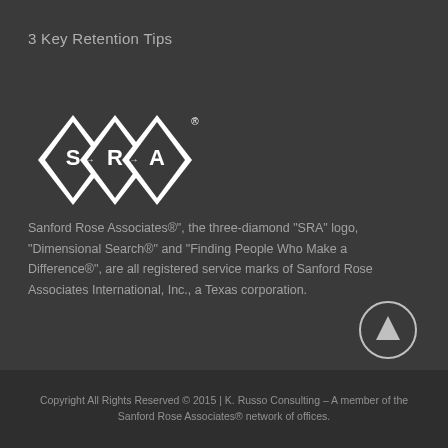3 Key Retention Tips
[Figure (logo): Sanford Rose Associates SRA three-diamond logo in white on dark background]
Sanford Rose Associates®", the three-diamond "SRA" logo, "Dimensional Search®" and "Finding People Who Make a Difference®", are all registered service marks of Sanford Rose Associates International, Inc., a Texas corporation.
Copyright All Rights Reserved © 2015 | K. Russo Consulting – A member of the Sanford Rose Associates® network of offices.